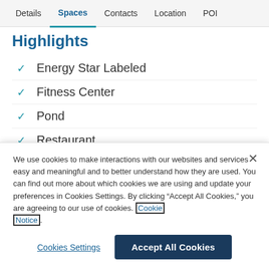Details  Spaces  Contacts  Location  POI
Highlights
Energy Star Labeled
Fitness Center
Pond
Restaurant
Security System
We use cookies to make interactions with our websites and services easy and meaningful and to better understand how they are used. You can find out more about which cookies we are using and update your preferences in Cookies Settings. By clicking “Accept All Cookies,” you are agreeing to our use of cookies. Cookie Notice.
Cookies Settings
Accept All Cookies